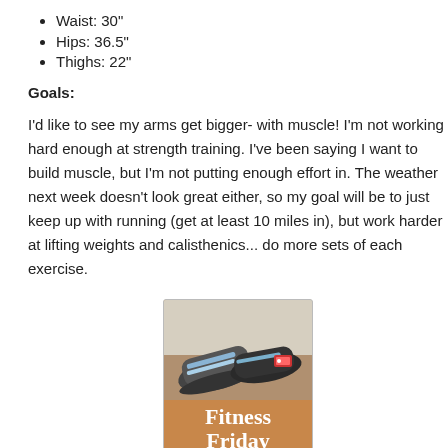Waist: 30"
Hips: 36.5"
Thighs: 22"
Goals:
I'd like to see my arms get bigger- with muscle! I'm not working hard enough at strength training. I've been saying I want to build muscle, but I'm not putting enough effort in. The weather next week doesn't look great either, so my goal will be to just keep up with running (get at least 10 miles in), but work harder at lifting weights and calisthenics... do more sets of each exercise.
[Figure (illustration): Fitness Friday promotional image showing running shoes with text 'Fitness Friday [Fitness, Health & Happiness] www.jillconyers.com' on an orange-brown background]